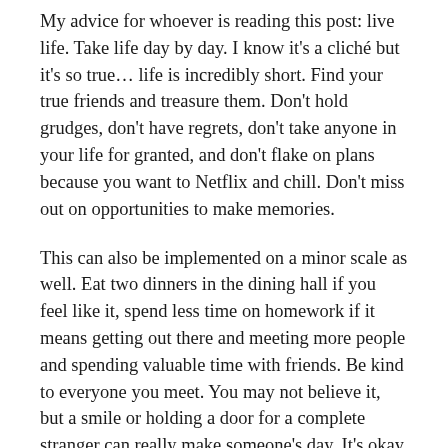My advice for whoever is reading this post: live life. Take life day by day. I know it's a cliché but it's so true… life is incredibly short. Find your true friends and treasure them. Don't hold grudges, don't have regrets, don't take anyone in your life for granted, and don't flake on plans because you want to Netflix and chill. Don't miss out on opportunities to make memories.
This can also be implemented on a minor scale as well. Eat two dinners in the dining hall if you feel like it, spend less time on homework if it means getting out there and meeting more people and spending valuable time with friends. Be kind to everyone you meet. You may not believe it, but a smile or holding a door for a complete stranger can really make someone's day. It's okay to not follow your plan. Stray away from your planner, take chances and follow through on your impulses. Life